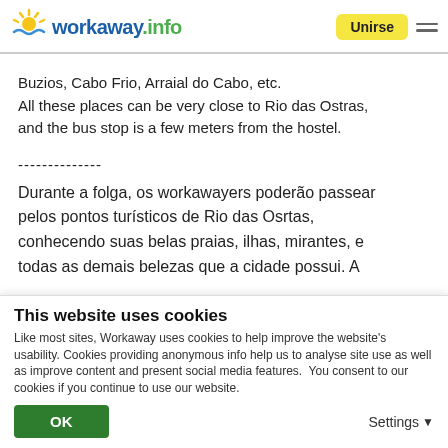workaway.info | Unirse
Buzios, Cabo Frio, Arraial do Cabo, etc.
All these places can be very close to Rio das Ostras, and the bus stop is a few meters from the hostel.
--------------
Durante a folga, os workawayers poderão passear pelos pontos turísticos de Rio das Osrtas, conhecendo suas belas praias, ilhas, mirantes, e todas as demais belezas que a cidade possui. A
This website uses cookies
Like most sites, Workaway uses cookies to help improve the website's usability. Cookies providing anonymous info help us to analyse site use as well as improve content and present social media features.  You consent to our cookies if you continue to use our website.
OK | Settings